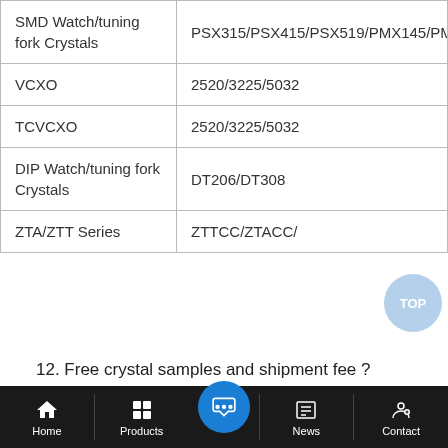| Type | Models |
| --- | --- |
| SMD Watch/tuning fork Crystals | PSX315/PSX415/PSX519/PMX145/PMX206/PM... |
| VCXO | 2520/3225/5032 |
| TCVCXO | 2520/3225/5032 |
| DIP Watch/tuning fork Crystals | DT206/DT308 |
| ZTA/ZTT Series | ZTTCC/ZTACC/ |
12. Free crystal samples and shipment fee ?
Home | Products | (chat) | News | Contact